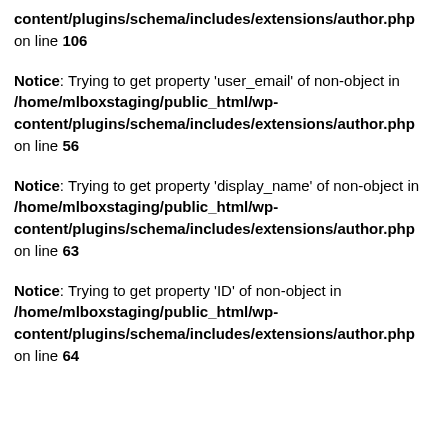content/plugins/schema/includes/extensions/author.php on line 106
Notice: Trying to get property 'user_email' of non-object in /home/mlboxstaging/public_html/wp-content/plugins/schema/includes/extensions/author.php on line 56
Notice: Trying to get property 'display_name' of non-object in /home/mlboxstaging/public_html/wp-content/plugins/schema/includes/extensions/author.php on line 63
Notice: Trying to get property 'ID' of non-object in /home/mlboxstaging/public_html/wp-content/plugins/schema/includes/extensions/author.php on line 64